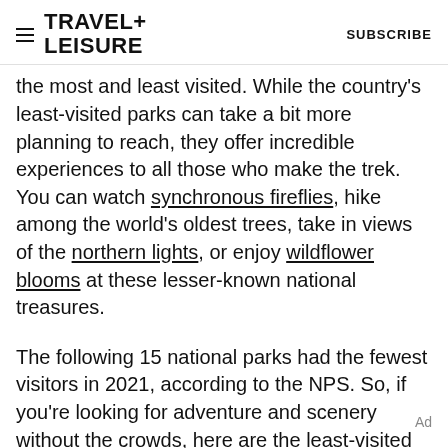TRAVEL+ LEISURE | SUBSCRIBE
the most and least visited. While the country's least-visited parks can take a bit more planning to reach, they offer incredible experiences to all those who make the trek. You can watch synchronous fireflies, hike among the world's oldest trees, take in views of the northern lights, or enjoy wildflower blooms at these lesser-known national treasures.
The following 15 national parks had the fewest visitors in 2021, according to the NPS. So, if you're looking for adventure and scenery without the crowds, here are the least-visited national parks to travel to next.